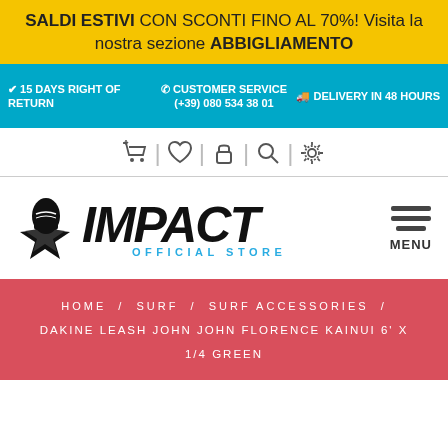SALDI ESTIVI CON SCONTI FINO AL 70%! Visita la nostra sezione ABBIGLIAMENTO
✔ 15 DAYS RIGHT OF RETURN   ✆ CUSTOMER SERVICE (+39) 080 534 38 01   🚚 DELIVERY IN 48 HOURS
[Figure (screenshot): Navigation icon bar with cart, heart, lock, search, and settings icons]
[Figure (logo): Impact Official Store logo with fist/star graphic and bold italic IMPACT text with OFFICIAL STORE subtitle in blue]
HOME / SURF / SURF ACCESSORIES / DAKINE LEASH JOHN JOHN FLORENCE KAINUI 6' X 1/4 GREEN